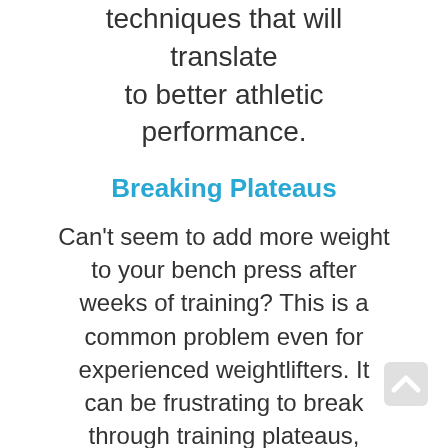techniques that will translate to better athletic performance.
Breaking Plateaus
Can't seem to add more weight to your bench press after weeks of training? This is a common problem even for experienced weightlifters. It can be frustrating to break through training plateaus, especially if you don't know exactly what to do. A trainer can introduce a new routine to